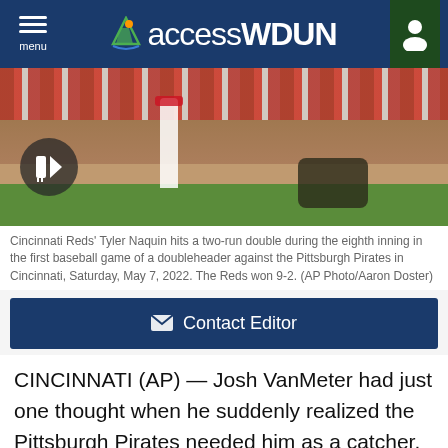accessWDUN
[Figure (photo): Baseball action photo showing Cincinnati Reds player hitting with Pittsburgh Pirates catcher reaching for the ball at home plate, with crowd in background.]
Cincinnati Reds' Tyler Naquin hits a two-run double during the eighth inning in the first baseball game of a doubleheader against the Pittsburgh Pirates in Cincinnati, Saturday, May 7, 2022. The Reds won 9-2. (AP Photo/Aaron Doster)
✉  Contact Editor
CINCINNATI (AP) — Josh VanMeter had just one thought when he suddenly realized the Pittsburgh Pirates needed him as a catcher.